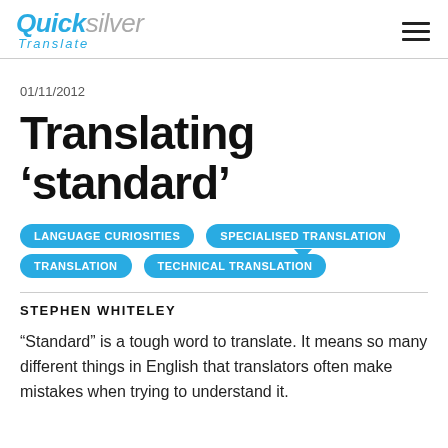QuickSilver Translate
01/11/2012
Translating ‘standard’
LANGUAGE CURIOSITIES   SPECIALISED TRANSLATION   TECHNICAL TRANSLATION
STEPHEN WHITELEY
“Standard” is a tough word to translate. It means so many different things in English that translators often make mistakes when trying to understand it.